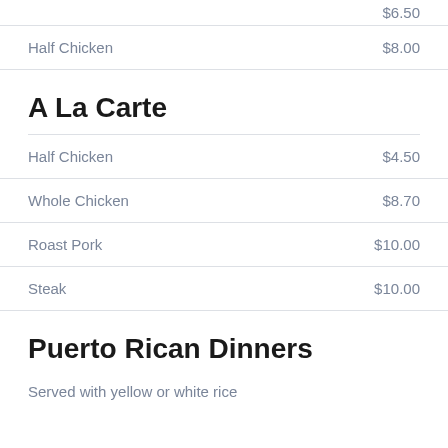$6.50
Half Chicken  $8.00
A La Carte
Half Chicken  $4.50
Whole Chicken  $8.70
Roast Pork  $10.00
Steak  $10.00
Puerto Rican Dinners
Served with yellow or white rice